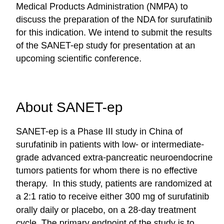Medical Products Administration (NMPA) to discuss the preparation of the NDA for surufatinib for this indication. We intend to submit the results of the SANET-ep study for presentation at an upcoming scientific conference.
About SANET-ep
SANET-ep is a Phase III study in China of surufatinib in patients with low- or intermediate-grade advanced extra-pancreatic neuroendocrine tumors patients for whom there is no effective therapy.  In this study, patients are randomized at a 2:1 ratio to receive either 300 mg of surufatinib orally daily or placebo, on a 28-day treatment cycle. The primary endpoint of the study is to evaluate the PFS, with secondary endpoints including objective